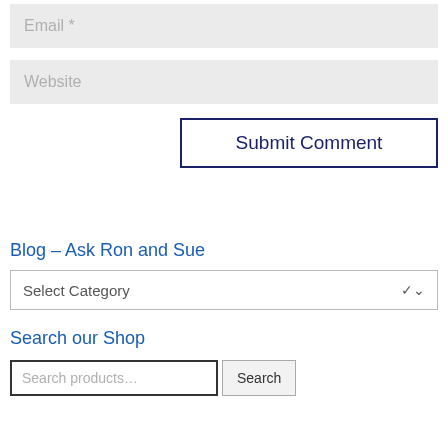Email *
Website
Submit Comment
Blog – Ask Ron and Sue
Select Category
Search our Shop
Search products…
Search